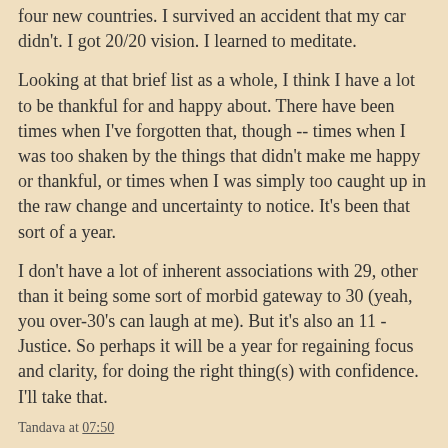four new countries. I survived an accident that my car didn't. I got 20/20 vision. I learned to meditate.
Looking at that brief list as a whole, I think I have a lot to be thankful for and happy about. There have been times when I've forgotten that, though -- times when I was too shaken by the things that didn't make me happy or thankful, or times when I was simply too caught up in the raw change and uncertainty to notice. It's been that sort of a year.
I don't have a lot of inherent associations with 29, other than it being some sort of morbid gateway to 30 (yeah, you over-30's can laugh at me). But it's also an 11 - Justice. So perhaps it will be a year for regaining focus and clarity, for doing the right thing(s) with confidence. I'll take that.
Tandava at 07:50
5 comments:
kimbalina 8/6/08 10:23 AM